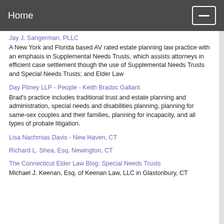Home
Jay J. Sangerman, PLLC
A New York and Florida based AV rated estate planning law practice with an emphasis in Supplemental Needs Trusts, which assists attorneys in efficient case settlement though the use of Supplemental Needs Trusts and Special Needs Trusts; and Elder Law
Day Pitney LLP - People - Keith Bradoc Gallant
Brad's practice includes traditional trust and estate planning and administration, special needs and disabilities planning, planning for same-sex couples and their families, planning for incapacity, and all types of probate litigation.
Lisa Nachmias Davis - New Haven, CT
Richard L. Shea, Esq. Newington, CT
The Connecticut Elder Law Blog: Special Needs Trusts
Michael J. Keenan, Esq. of Keenan Law, LLC in Glastonbury, CT